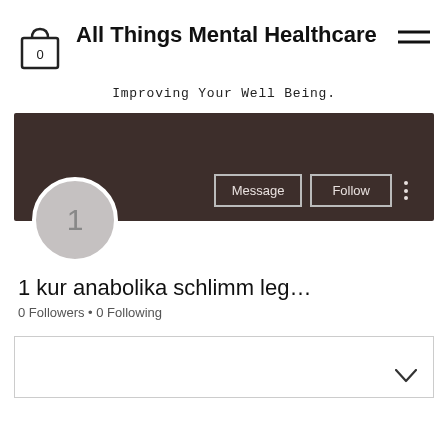[Figure (logo): Shopping bag icon with 0 inside, representing a cart with 0 items]
All Things Mental Healthcare
[Figure (other): Hamburger menu icon (three horizontal lines)]
Improving Your Well Being.
[Figure (photo): Dark brown profile banner background with Message and Follow buttons, and a circular avatar showing number 1]
1 kur anabolika schlimm leg…
0 Followers • 0 Following
[Figure (other): Dropdown box with chevron/down arrow]